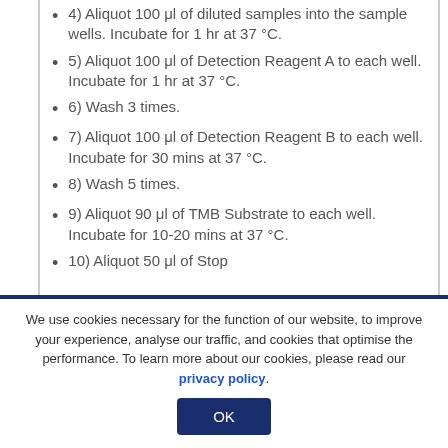4) Aliquot 100 μl of diluted samples into the sample wells. Incubate for 1 hr at 37 °C.
5) Aliquot 100 μl of Detection Reagent A to each well. Incubate for 1 hr at 37 °C.
6) Wash 3 times.
7) Aliquot 100 μl of Detection Reagent B to each well. Incubate for 30 mins at 37 °C.
8) Wash 5 times.
9) Aliquot 90 μl of TMB Substrate to each well. Incubate for 10-20 mins at 37 °C.
10) Aliquot 50 μl of Stop...
We use cookies necessary for the function of our website, to improve your experience, analyse our traffic, and cookies that optimise the performance. To learn more about our cookies, please read our privacy policy.